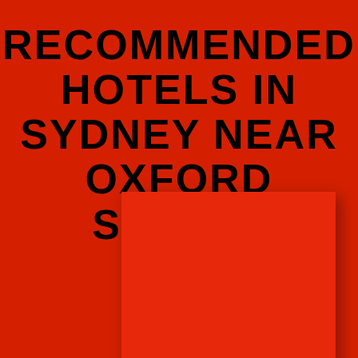RECOMMENDED HOTELS IN SYDNEY NEAR OXFORD STREET
[Figure (other): A lighter red rectangle inset box with drop shadow on a dark red background, occupying the lower portion of the page.]